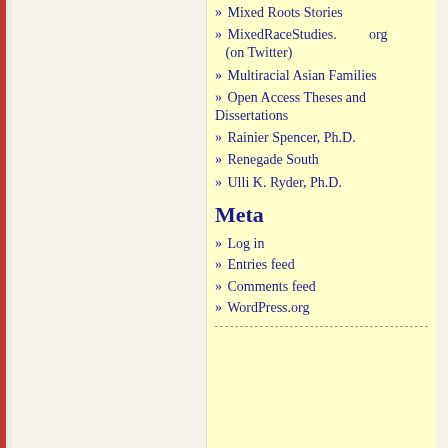» Mixed Roots Stories
» MixedRaceStudies.org (on Twitter)
» Multiracial Asian Families
» Open Access Theses and Dissertations
» Rainier Spencer, Ph.D.
» Renegade South
» Ulli K. Ryder, Ph.D.
Meta
» Log in
» Entries feed
» Comments feed
» WordPress.org